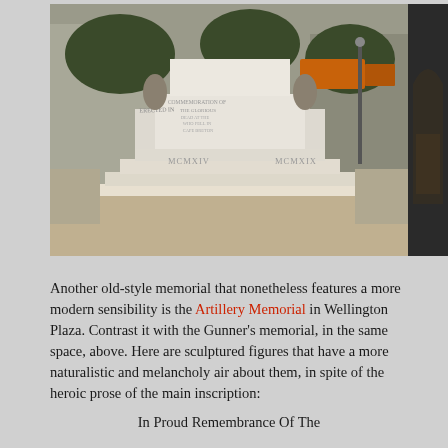[Figure (photo): Photograph of a stone war memorial with stepped base and inscriptions reading MCMXIV and MCMXIX, with bronze figures, trees and buses visible in the background. A darker partial photo is visible on the right edge of the page.]
Another old-style memorial that nonetheless features a more modern sensibility is the Artillery Memorial in Wellington Plaza. Contrast it with the Gunner's memorial, in the same space, above. Here are sculptured figures that have a more naturalistic and melancholy air about them, in spite of the heroic prose of the main inscription:
In Proud Remembrance Of The